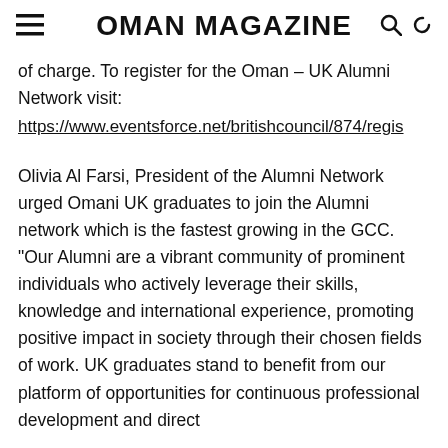OMAN MAGAZINE
of charge. To register for the Oman – UK Alumni Network visit:
https://www.eventsforce.net/britishcouncil/874/regis
Olivia Al Farsi, President of the Alumni Network urged Omani UK graduates to join the Alumni network which is the fastest growing in the GCC. “Our Alumni are a vibrant community of prominent individuals who actively leverage their skills, knowledge and international experience, promoting positive impact in society through their chosen fields of work. UK graduates stand to benefit from our platform of opportunities for continuous professional development and direct